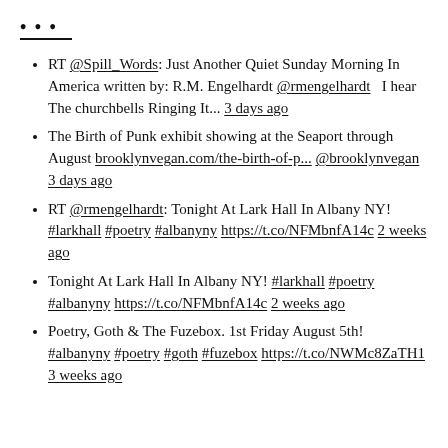• • •
RT @Spill_Words: Just Another Quiet Sunday Morning In America written by: R.M. Engelhardt @rmengelhardt   I hear The churchbells Ringing It... 3 days ago
The Birth of Punk exhibit showing at the Seaport through August brooklynvegan.com/the-birth-of-p... @brooklynvegan 3 days ago
RT @rmengelhardt: Tonight At Lark Hall In Albany NY! #larkhall #poetry #albanyny https://t.co/NFMbnfA14c 2 weeks ago
Tonight At Lark Hall In Albany NY! #larkhall #poetry #albanyny https://t.co/NFMbnfA14c 2 weeks ago
Poetry, Goth & The Fuzebox. 1st Friday August 5th! #albanyny #poetry #goth #fuzebox https://t.co/NWMc8ZaTH1 3 weeks ago